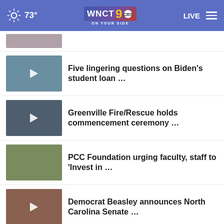WNCT 9 ON YOUR SIDE — 73° — LIVE
[Figure (screenshot): Partial thumbnail of a news story at top]
Five lingering questions on Biden's student loan …
Greenville Fire/Rescue holds commencement ceremony …
PCC Foundation urging faculty, staff to 'Invest in …
Democrat Beasley announces North Carolina Senate …
More Stories ▸
LKOD OUTSTREAM